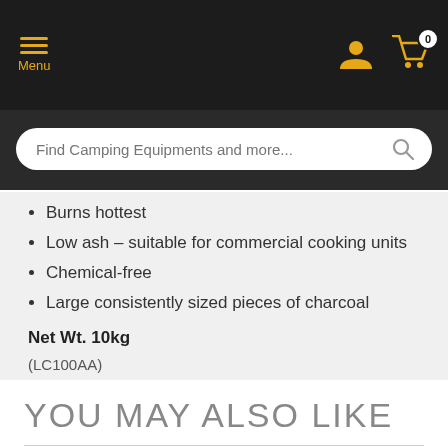Menu | User icon | Cart icon (0)
Find Camping Equipments and more...
Burns hottest
Low ash – suitable for commercial cooking units
Chemical-free
Large consistently sized pieces of charcoal
Net Wt. 10kg
(LC100AA)
YOU MAY ALSO LIKE